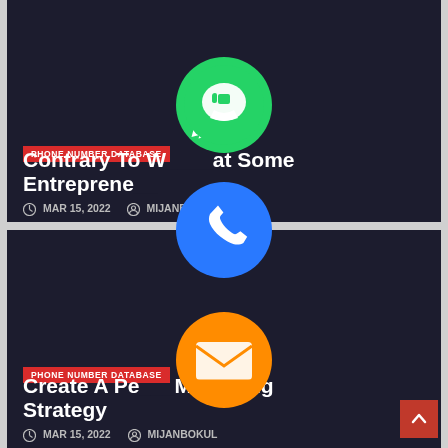[Figure (screenshot): Blog listing page showing two article cards on dark background with social media sharing icons overlaid (WhatsApp, phone, email/message, LINE, Viber, close button)]
PHONE NUMBER DATABASE
Contrary To What Some Entrepreneur
MAR 15, 2022   MIJANBOKUL
PHONE NUMBER DATABASE
Create A Perfect Marketing Strategy
MAR 15, 2022   MIJANBOKUL